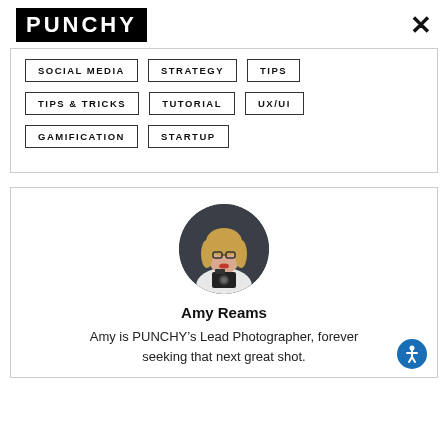PUNCHY
SOCIAL MEDIA
STRATEGY
TIPS
TIPS & TRICKS
TUTORIAL
UX/UI
GAMIFICATION
STARTUP
[Figure (photo): Circular headshot of Amy Reams, a woman with blonde hair and glasses holding a camera, against a dark grey background.]
Amy Reams
Amy is PUNCHY’s Lead Photographer, forever seeking that next great shot.